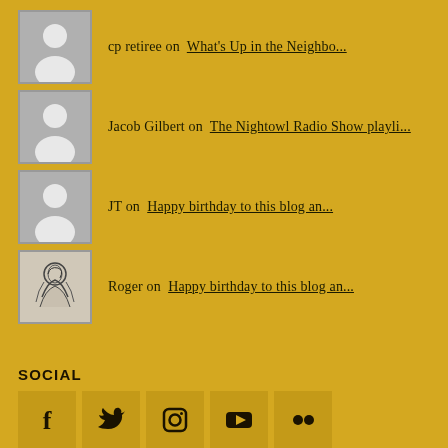cp retiree on  What's Up in the Neighbo...
Jacob Gilbert on  The Nightowl Radio Show playli...
JT on  Happy birthday to this blog an...
Roger on  Happy birthday to this blog an...
SOCIAL
[Figure (infographic): Row of 5 social media icons: Facebook, Twitter, Instagram, YouTube, Flickr]
CHUCK'S PREVIOUS POSTS
[Figure (photo): Partial thumbnail image at bottom]